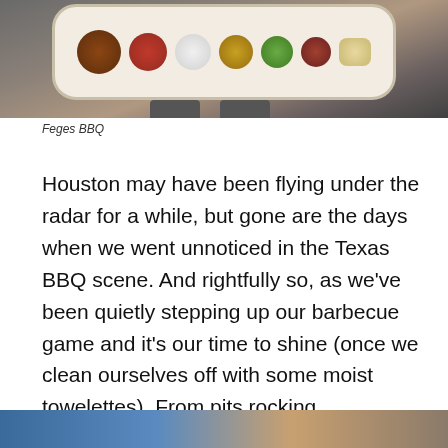[Figure (photo): Overhead view of a BBQ charcuterie tray with various meats, sauces, pickles, and condiments held by a person wearing dark clothes and grey shoes, on a grey background]
Feges BBQ
Houston may have been flying under the radar for a while, but gone are the days when we went unnoticed in the Texas BBQ scene. And rightfully so, as we've been quietly stepping up our barbecue game and it's our time to shine (once we clean ourselves off with some moist towelettes). From pits rocking gargantuan beef ribs that feel downright Jurassic to the choicest, moistest, most mouthwatering brisket around, these Houston-area smokehouses prove we mean business.
[Figure (photo): Partial view of another BBQ-related photo at the bottom of the page]